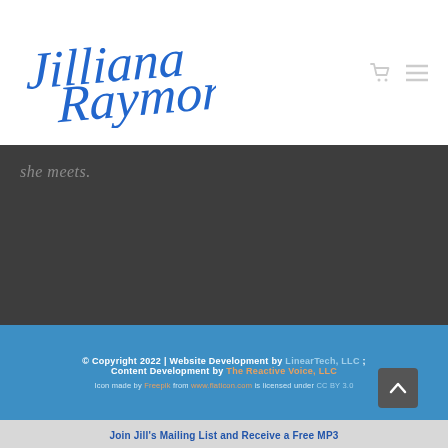[Figure (logo): Jilliana Raymond cursive script logo in blue]
she meets.
© Copyright 2022 | Website Development by LinearTech, LLC ; Content Development by The Reactive Voice, LLC
Icon made by Freepik from www.flaticon.com is licensed under CC BY 3.0
Join Jill's Mailing List and Receive a Free MP3